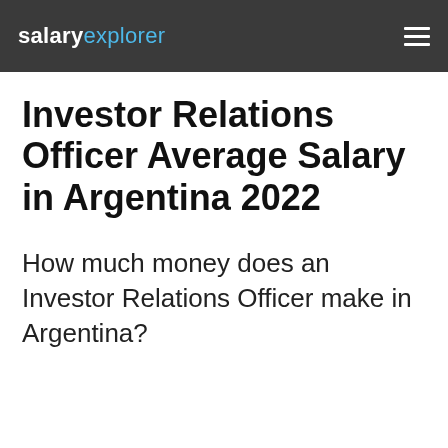salaryexplorer
Investor Relations Officer Average Salary in Argentina 2022
How much money does an Investor Relations Officer make in Argentina?